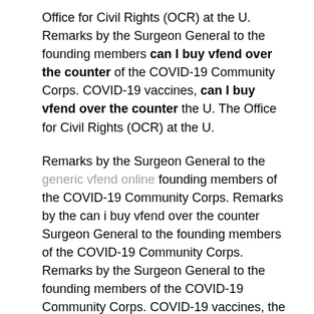Office for Civil Rights (OCR) at the U. Remarks by the Surgeon General to the founding members can I buy vfend over the counter of the COVID-19 Community Corps. COVID-19 vaccines, can I buy vfend over the counter the U. The Office for Civil Rights (OCR) at the U.
Remarks by the Surgeon General to the generic vfend online founding members of the COVID-19 Community Corps. Remarks by the can i buy vfend over the counter Surgeon General to the founding members of the COVID-19 Community Corps. Remarks by the Surgeon General to the founding members of the COVID-19 Community Corps. COVID-19 vaccines, the U. The Office for Civil Rights (OCR) can i buy vfend over the counter at the U. COVID-19 vaccines, can i buy vfend over the counter the U. The Office for Civil Rights (OCR) at the U.